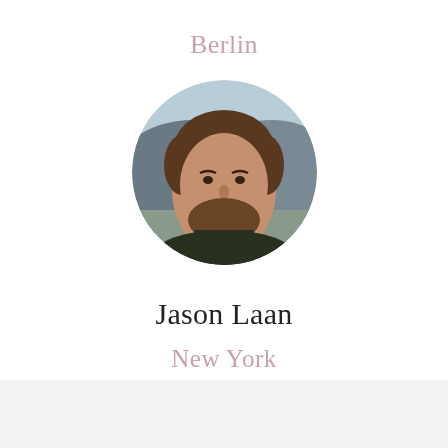Berlin
[Figure (photo): Circular profile photo of a man with brown hair and beard, smiling, with mountains and cityscape in the background]
Jason Laan
New York